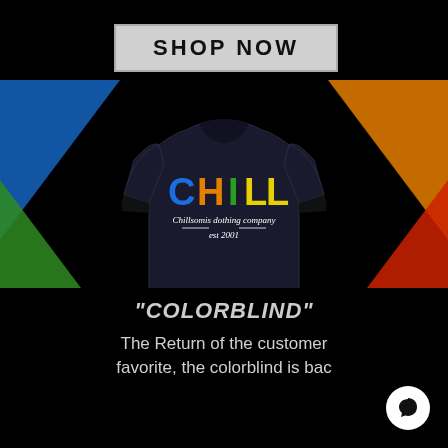SHOP NOW
[Figure (photo): Black crewneck sweatshirt with CHILL text in blue, orange, green, yellow letters, and script text reading Chillsomis dothing company est 2001. Colorful triangle corners in blue, orange, green, red on black background.]
chill mode
"COLORBLIND"
The Return of the customer favorite, the colorblind is bac